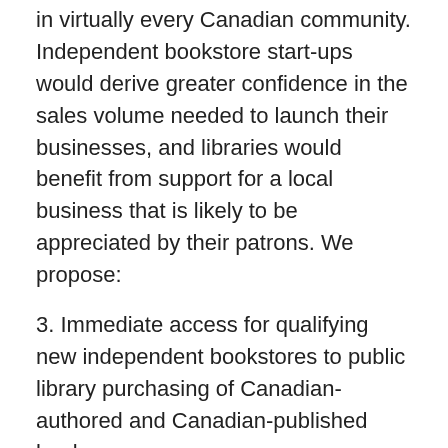in virtually every Canadian community. Independent bookstore start-ups would derive greater confidence in the sales volume needed to launch their businesses, and libraries would benefit from support for a local business that is likely to be appreciated by their patrons. We propose:
3. Immediate access for qualifying new independent bookstores to public library purchasing of Canadian-authored and Canadian-published books.
Real estate and cultural spaces
Canadian cities have many ways of supporting local cultural facilities operated by nonprofits, including operating grants or some measure of property tax